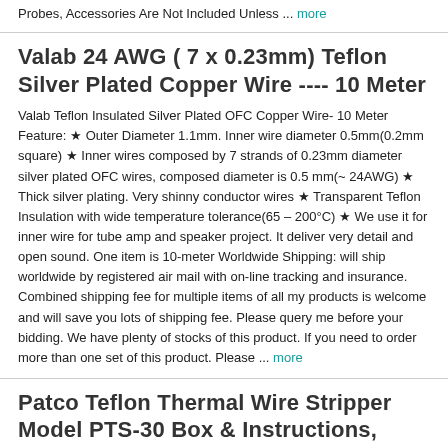Probes, Accessories Are Not Included Unless ... more
Valab 24 AWG ( 7 x 0.23mm) Teflon Silver Plated Copper Wire ---- 10 Meter
Valab Teflon Insulated Silver Plated OFC Copper Wire- 10 Meter Feature: ★ Outer Diameter 1.1mm. Inner wire diameter 0.5mm(0.2mm square) ★ Inner wires composed by 7 strands of 0.23mm diameter silver plated OFC wires, composed diameter is 0.5 mm(~ 24AWG) ★ Thick silver plating. Very shinny conductor wires ★ Transparent Teflon Insulation with wide temperature tolerance(65 – 200°C) ★ We use it for inner wire for tube amp and speaker project. It deliver very detail and open sound. One item is 10-meter Worldwide Shipping: will ship worldwide by registered air mail with on-line tracking and insurance. Combined shipping fee for multiple items of all my products is welcome and will save you lots of shipping fee. Please query me before your bidding. We have plenty of stocks of this product. If you need to order more than one set of this product. Please ... more
Patco Teflon Thermal Wire Stripper Model PTS-30 Box & Instructions, Great shape
Up for auction is a working Patco Teflon Thermal Wire Stripper Model PTS-30 w Orig. Box w Instructions as pictured. Works great. Questions are welcome. Shipped to US via UPS Ground. It will be shipped well packed! Only ships to USA. Please don't ask. Payment by paypal only. Payment is expected within 5 days of auction end or item will be relisted.